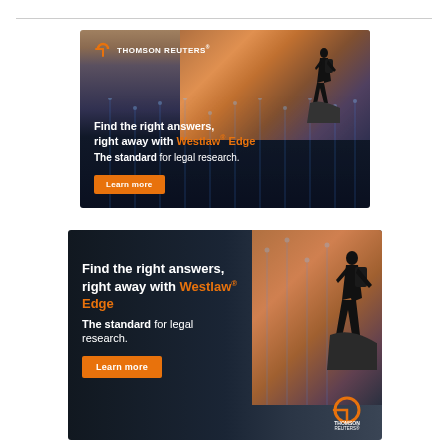[Figure (illustration): Thomson Reuters Westlaw Edge advertisement banner. Large format ad showing a person silhouetted on a mountain peak at sunset with data visualization columns in background. Text reads: 'Find the right answers, right away with Westlaw® Edge. The standard for legal research.' with a Learn more button and Thomson Reuters logo.]
[Figure (illustration): Thomson Reuters Westlaw Edge advertisement banner. Smaller rectangular ad with dark background and person silhouetted on mountain at right. Text reads: 'Find the right answers, right away with Westlaw® Edge. The standard for legal research.' with a Learn more button and Thomson Reuters logo.]